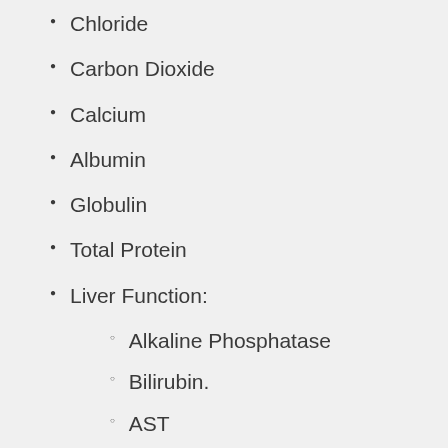Chloride
Carbon Dioxide
Calcium
Albumin
Globulin
Total Protein
Liver Function:
Alkaline Phosphatase
Bilirubin.
AST
ALT
3. Lipid Panel. FASTING REQUIRED
Total Cholesterol